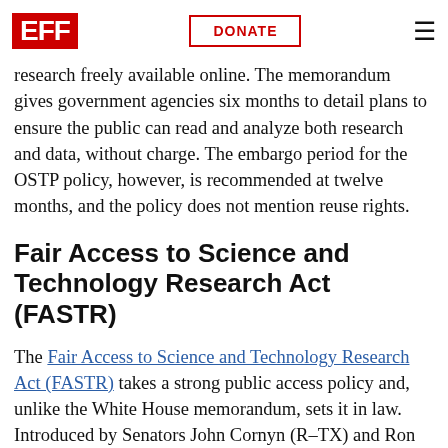EFF | DONATE
research freely available online. The memorandum gives government agencies six months to detail plans to ensure the public can read and analyze both research and data, without charge. The embargo period for the OSTP policy, however, is recommended at twelve months, and the policy does not mention reuse rights.
Fair Access to Science and Technology Research Act (FASTR)
The Fair Access to Science and Technology Research Act (FASTR) takes a strong public access policy and, unlike the White House memorandum, sets it in law. Introduced by Senators John Cornyn (R–TX) and Ron Wyden (D–OR) and Representatives Mike